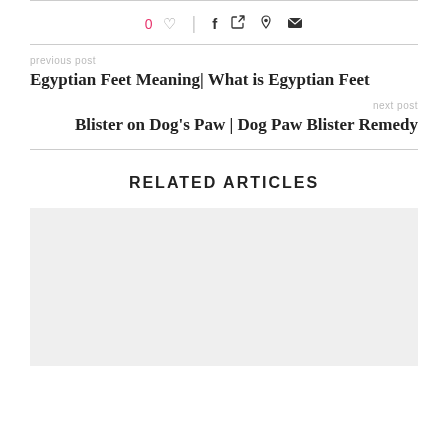0 ♡  |  f  𝕏   pinterest  ✉
previous post
Egyptian Feet Meaning| What is Egyptian Feet
next post
Blister on Dog's Paw | Dog Paw Blister Remedy
RELATED ARTICLES
[Figure (photo): Gray placeholder image for a related article]